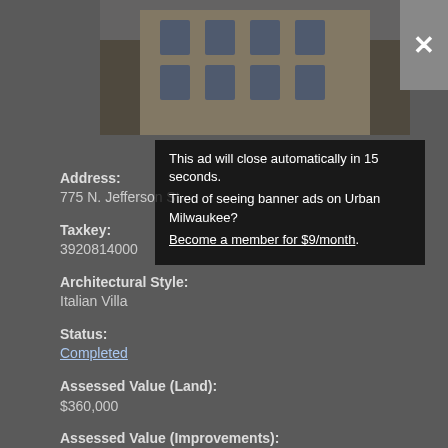[Figure (photo): Exterior photo of a multi-story building at 775 N. Jefferson St., shown partially behind a dark overlay]
This ad will close automatically in 15 seconds.
Tired of seeing banner ads on Urban Milwaukee?
Become a member for $9/month.
Address:
775 N. Jefferson St.
Taxkey:
3920814000
Architectural Style:
Italian Villa
Status:
Completed
Assessed Value (Land):
$360,000
Assessed Value (Improvements):
$1,267,400
Assessed Value (Total):
$1,627,400
Assesment Year:
2020
Year Built:
1860